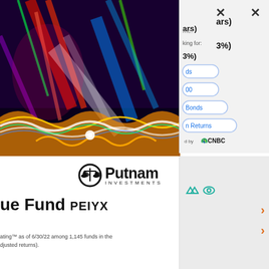[Figure (photo): Abstract colorful light streaks and neon wave patterns on dark background - decorative photo]
[Figure (screenshot): Popup overlay with close buttons, partial text showing 'ars)', '3%)', search options for bonds/returns, powered by CNBC logo]
[Figure (logo): Putnam Investments logo with balance scale icon in circle]
ue Fund PEIYX
ating™ as of 6/30/22 among 1,145 funds in the djusted returns).